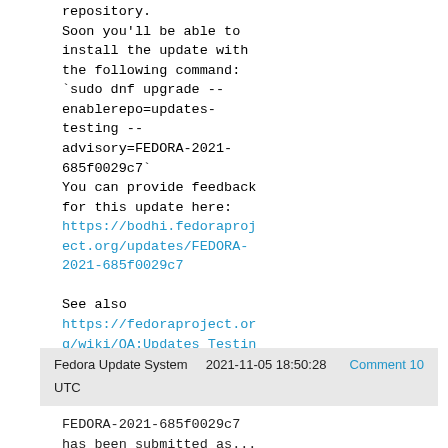repository.
Soon you'll be able to install the update with the following command:
`sudo dnf upgrade --enablerepo=updates-testing --advisory=FEDORA-2021-685f0029c7`
You can provide feedback for this update here:
https://bodhi.fedoraproject.org/updates/FEDORA-2021-685f0029c7

See also https://fedoraproject.org/wiki/QA:Updates_Testing for more information on how to test updates.
Fedora Update System   2021-11-05 18:50:28   Comment 10
UTC
FEDORA-2021-685f0029c7
has been submitted as...